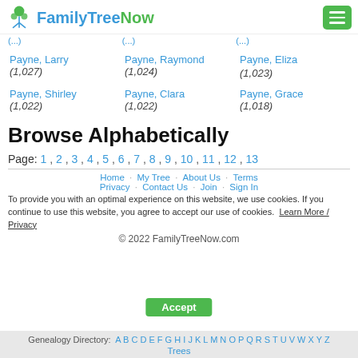FamilyTreeNow
Payne, Larry (1,027)   Payne, Raymond (1,024)   Payne, Eliza (1,023)
Payne, Shirley (1,022)   Payne, Clara (1,022)   Payne, Grace (1,018)
Browse Alphabetically
Page: 1 , 2 , 3 , 4 , 5 , 6 , 7 , 8 , 9 , 10 , 11 , 12 , 13
Home · My Tree · About Us · Terms · Privacy · Contact Us · Join · Sign In
To provide you with an optimal experience on this website, we use cookies. If you continue to use this website, you agree to accept our use of cookies. Learn More / Privacy
© 2022 FamilyTreeNow.com
Genealogy Directory: A B C D E F G H I J K L M N O P Q R S T U V W X Y Z   Trees